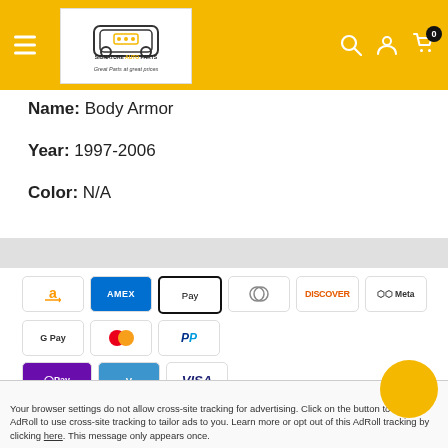Signature Auto Parts — Great Parts at great prices
Name: Body Armor
Year: 1997-2006
Color: N/A
[Figure (other): Payment method icons: Amazon, American Express, Apple Pay, Diners, Discover, Meta, Google Pay, Mastercard, PayPal, OPay, Venmo, Visa]
Your payment information is processed securely. We do not store credit card details nor have access to your credit
Your browser settings do not allow cross-site tracking for advertising. Click on the button to allow AdRoll to use cross-site tracking to tailor ads to you. Learn more or opt out of this AdRoll tracking by clicking here. This message only appears once.